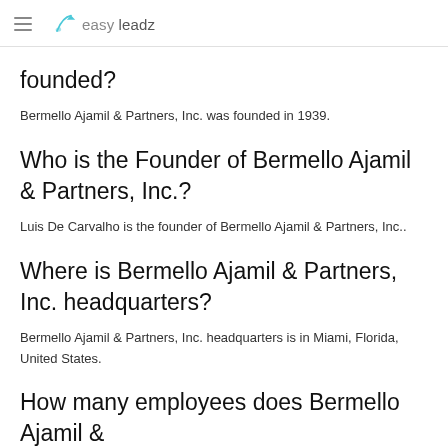easy leadz
founded?
Bermello Ajamil & Partners, Inc. was founded in 1939.
Who is the Founder of Bermello Ajamil & Partners, Inc.?
Luis De Carvalho is the founder of Bermello Ajamil & Partners, Inc..
Where is Bermello Ajamil & Partners, Inc. headquarters?
Bermello Ajamil & Partners, Inc. headquarters is in Miami, Florida, United States.
How many employees does Bermello Ajamil &